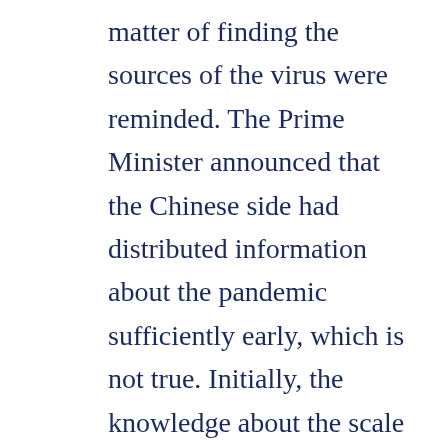matter of finding the sources of the virus were reminded. The Prime Minister announced that the Chinese side had distributed information about the pandemic sufficiently early, which is not true. Initially, the knowledge about the scale and high number of cases was covered up. The principle of Chinese unity for Taiwan and Hong Kong was upheld, yet Beijing's ongoing efforts clearly show